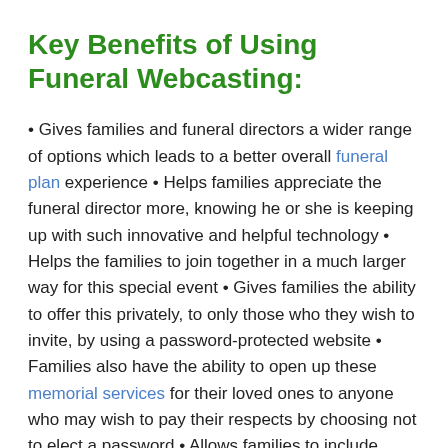Key Benefits of Using Funeral Webcasting:
• Gives families and funeral directors a wider range of options which leads to a better overall funeral plan experience • Helps families appreciate the funeral director more, knowing he or she is keeping up with such innovative and helpful technology • Helps the families to join together in a much larger way for this special event • Gives families the ability to offer this privately, to only those who they wish to invite, by using a password-protected website • Families also have the ability to open up these memorial services for their loved ones to anyone who may wish to pay their respects by choosing not to elect a password • Allows families to include those you know really want to attend, but simply can't make for